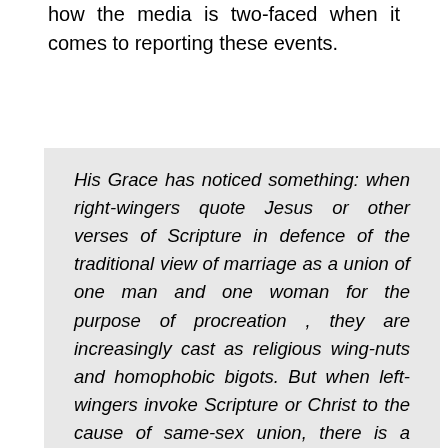how the media is two-faced when it comes to reporting these events.
His Grace has noticed something: when right-wingers quote Jesus or other verses of Scripture in defence of the traditional view of marriage as a union of one man and one woman for the purpose of procreation , they are increasingly cast as religious wing-nuts and homophobic bigots. But when left-wingers invoke Scripture or Christ to the cause of same-sex union, there is a veritable frenzy of enlightened jubilation that they have grasped profound truth and seen the light.